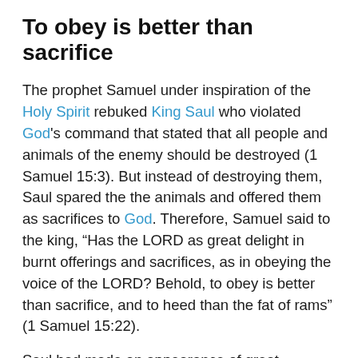To obey is better than sacrifice
The prophet Samuel under inspiration of the Holy Spirit rebuked King Saul who violated God's command that stated that all people and animals of the enemy should be destroyed (1 Samuel 15:3). But instead of destroying them, Saul spared the the animals and offered them as sacrifices to God. Therefore, Samuel said to the king, “Has the LORD as great delight in burnt offerings and sacrifices, as in obeying the voice of the LORD? Behold, to obey is better than sacrifice, and to heed than the fat of rams” (1 Samuel 15:22).
Saul had made an appearance of great faithfulness to God, as he offered up the animals as sacrifice to God. But his piety was